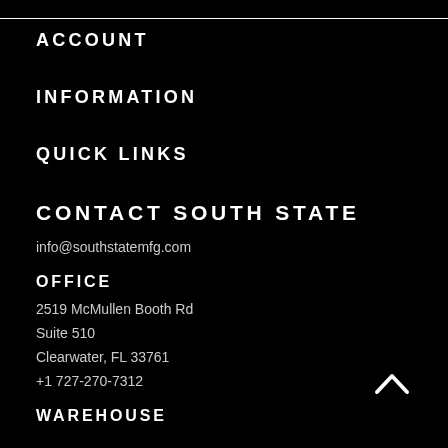ACCOUNT
INFORMATION
QUICK LINKS
CONTACT SOUTH STATE
info@southstatemfg.com
OFFICE
2519 McMullen Booth Rd
Suite 510
Clearwater, FL 33761
+1 727-270-7312
WAREHOUSE